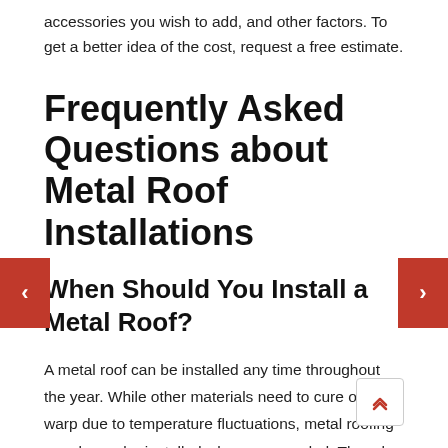accessories you wish to add, and other factors. To get a better idea of the cost, request a free estimate.
Frequently Asked Questions about Metal Roof Installations
When Should You Install a Metal Roof?
A metal roof can be installed any time throughout the year. While other materials need to cure or may warp due to temperature fluctuations, metal roofing panels can be installed whenever needed. Though there is never a wrong time to install a metal roof, it is important to consider safety of the crew before any project can proceed. Days